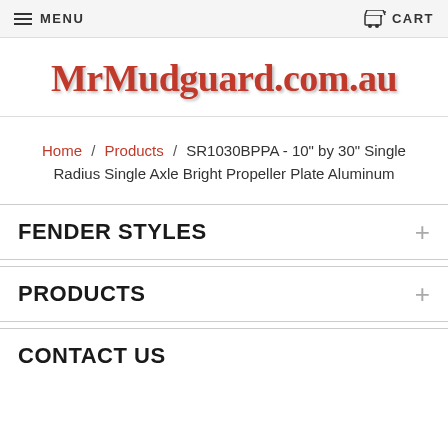MENU | CART
[Figure (logo): MrMudguard.com.au logo in bold red serif text with shadow effect]
Home / Products / SR1030BPPA - 10'' by 30'' Single Radius Single Axle Bright Propeller Plate Aluminum
FENDER STYLES
PRODUCTS
CONTACT US